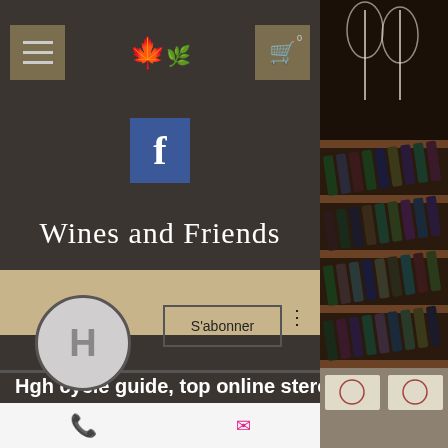[Figure (screenshot): Mobile app screenshot of Wines and Friends Facebook page profile with navigation bar, Facebook icon, script title 'Wines and Friends', user avatar with H initial, S'abonner button, profile name 'Hgh cycle guide, top online steroid...', subscriber count '0 Abonnés • 0 Abonnements', bottom navigation icons, and wine rack photo on right side.]
Wines and Friends
Wines and Friends
Hgh cycle guide, top online steroid...
0 Abonnés • 0 Abonnements